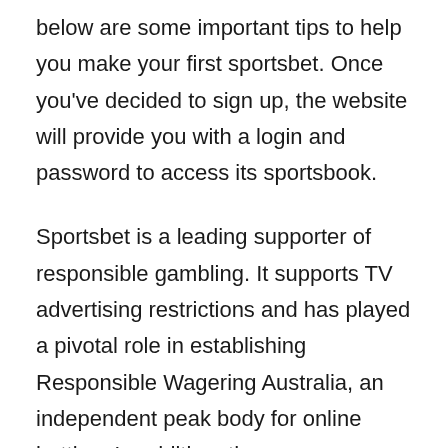below are some important tips to help you make your first sportsbet. Once you've decided to sign up, the website will provide you with a login and password to access its sportsbook.
Sportsbet is a leading supporter of responsible gambling. It supports TV advertising restrictions and has played a pivotal role in establishing Responsible Wagering Australia, an independent peak body for online betting. In addition, the company launched a feature called Take a Break, which allows customers to take a break